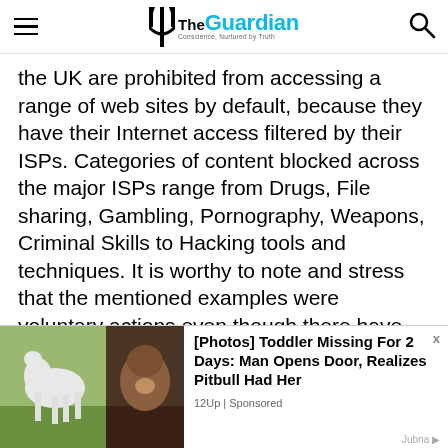The Guardian — Conscience, Nurtured by Truth
the UK are prohibited from accessing a range of web sites by default, because they have their Internet access filtered by their ISPs. Categories of content blocked across the major ISPs range from Drugs, File sharing, Gambling, Pornography, Weapons, Criminal Skills to Hacking tools and techniques. It is worthy to note and stress that the mentioned examples were voluntary actions even though there have been a number of attempts to introduce legislation to move it onto a mandatory footing.
[Figure (photo): Advertisement overlay: photo of a white horse on green grass on the left, photo of a pitbull dog on the right, with text '[Photos] Toddler Missing For 2 Days: Man Opens Door, Realizes Pitbull Had Her' and source '12Up | Sponsored']